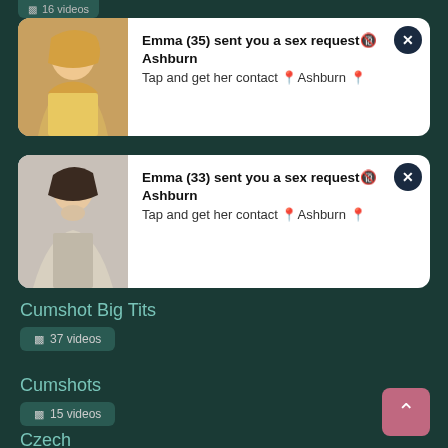16 videos
[Figure (photo): Notification card 1: photo of young woman with blonde hair, yellow top. Text: Emma (35) sent you a sex request Ashburn. Tap and get her contact Ashburn]
[Figure (photo): Notification card 2: photo of woman with dark hair. Text: Emma (33) sent you a sex request Ashburn. Tap and get her contact Ashburn]
Cumshot Big Tits
37 videos
Cumshots
15 videos
Czech